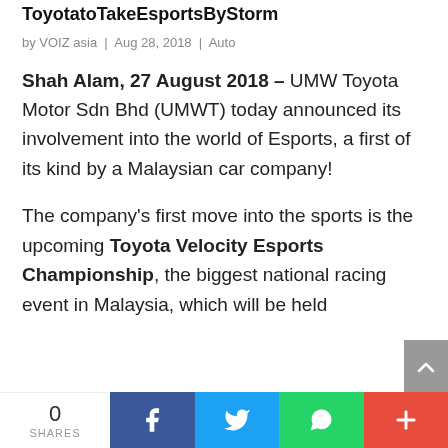ToyotaToTakeEsportsByStorm
by VOIZ asia | Aug 28, 2018 | Auto
Shah Alam, 27 August 2018 – UMW Toyota Motor Sdn Bhd (UMWT) today announced its involvement into the world of Esports, a first of its kind by a Malaysian car company!
The company's first move into the sports is the upcoming Toyota Velocity Esports Championship, the biggest national racing event in Malaysia, which will be held
0 SHARES | Facebook | Twitter | WhatsApp | More